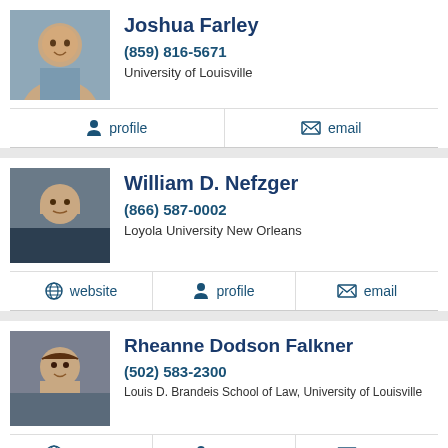[Figure (photo): Headshot photo of Joshua Farley]
Joshua Farley
(859) 816-5671
University of Louisville
profile   email
[Figure (photo): Headshot photo of William D. Nefzger]
William D. Nefzger
(866) 587-0002
Loyola University New Orleans
website   profile   email
[Figure (photo): Headshot photo of Rheanne Dodson Falkner]
Rheanne Dodson Falkner
(502) 583-2300
Louis D. Brandeis School of Law, University of Louisville
website   profile   email